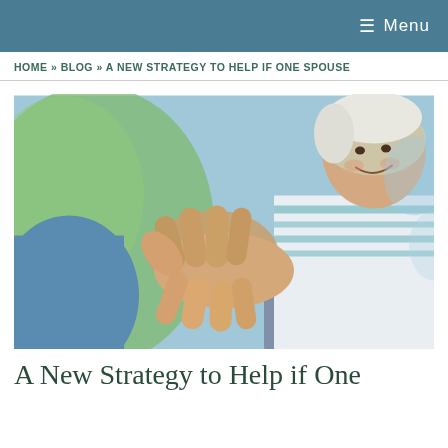☰ Menu
HOME » BLOG » A NEW STRATEGY TO HELP IF ONE SPOUSE
[Figure (photo): Close-up photo of a caregiver holding the hands of an elderly person in a wheelchair, outdoors with blurred green background]
A New Strategy to Help if One